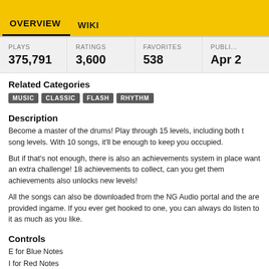OVERVIEW   WIKI
| PLAYS | RATINGS | FAVORITES | PUBLI... |
| --- | --- | --- | --- |
| 375,791 | 3,600 | 538 | Apr ... |
Related Categories
MUSIC  CLASSIC  FLASH  RHYTHM
Description
Become a master of the drums! Play through 15 levels, including both t song levels. With 10 songs, it'll be enough to keep you occupied.
But if that's not enough, there is also an achievements system in place want an extra challenge! 18 achievements to collect, can you get them achievements also unlocks new levels!
All the songs can also be downloaded from the NG Audio portal and the are provided ingame. If you ever get hooked to one, you can always do listen to it as much as you like.
Controls
E for Blue Notes
I for Red Notes